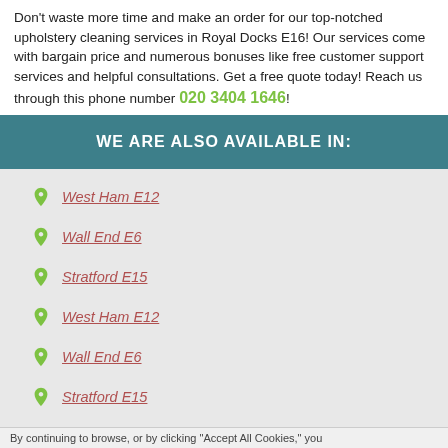Don't waste more time and make an order for our top-notched upholstery cleaning services in Royal Docks E16! Our services come with bargain price and numerous bonuses like free customer support services and helpful consultations. Get a free quote today! Reach us through this phone number 020 3404 1646!
WE ARE ALSO AVAILABLE IN:
West Ham E12
Wall End E6
Stratford E15
West Ham E12
Wall End E6
Stratford E15
Redbridge E13
By continuing to browse, or by clicking "Accept All Cookies," you